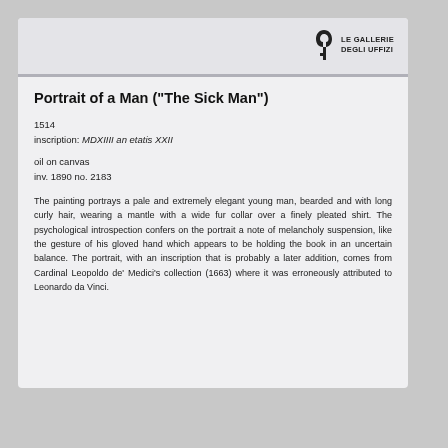[Figure (logo): Le Gallerie degli Uffizi logo with stylized G icon and text LE GALLERIE DEGLI UFFIZI]
Portrait of a Man ("The Sick Man")
1514
inscription: MDXIIII an etatis XXII
oil on canvas
inv. 1890 no. 2183
The painting portrays a pale and extremely elegant young man, bearded and with long curly hair, wearing a mantle with a wide fur collar over a finely pleated shirt. The psychological introspection confers on the portrait a note of melancholy suspension, like the gesture of his gloved hand which appears to be holding the book in an uncertain balance. The portrait, with an inscription that is probably a later addition, comes from Cardinal Leopoldo de' Medici's collection (1663) where it was erroneously attributed to Leonardo da Vinci.